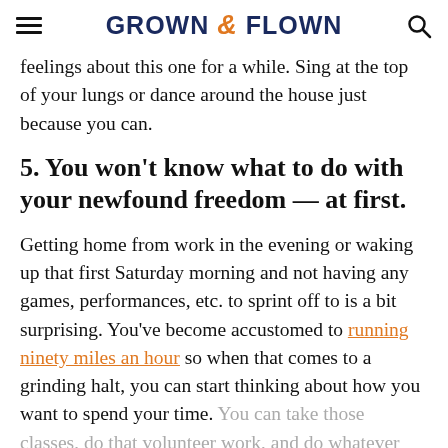GROWN & FLOWN
feelings about this one for a while. Sing at the top of your lungs or dance around the house just because you can.
5. You won't know what to do with your newfound freedom — at first.
Getting home from work in the evening or waking up that first Saturday morning and not having any games, performances, etc. to sprint off to is a bit surprising. You've become accustomed to running ninety miles an hour so when that comes to a grinding halt, you can start thinking about how you want to spend your time. You can take those classes, do that volunteer work, and do whatever